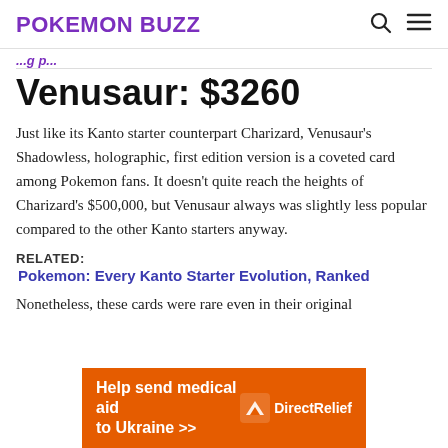POKEMON BUZZ
Venusaur: $3260
Just like its Kanto starter counterpart Charizard, Venusaur's Shadowless, holographic, first edition version is a coveted card among Pokemon fans. It doesn't quite reach the heights of Charizard's $500,000, but Venusaur always was slightly less popular compared to the other Kanto starters anyway.
RELATED:
Pokemon: Every Kanto Starter Evolution, Ranked
Nonetheless, these cards were rare even in their original
[Figure (infographic): Orange advertisement banner for Direct Relief: 'Help send medical aid to Ukraine >>' with Direct Relief logo on the right.]